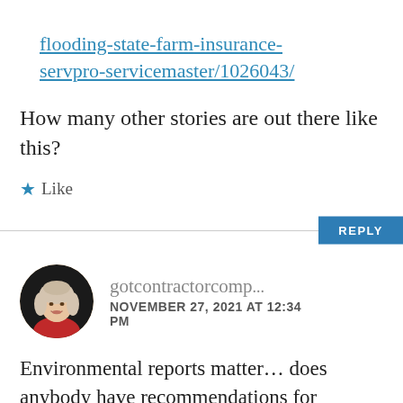flooding-state-farm-insurance-servpro-servicemaster/1026043/
How many other stories are out there like this?
★ Like
REPLY
[Figure (photo): Circular avatar photo of a woman with light blonde/white hair wearing a red jacket, smiling, against a dark background.]
gotcontractorcomp...
NOVEMBER 27, 2021 AT 12:34 PM
Environmental reports matter... does anybody have recommendations for